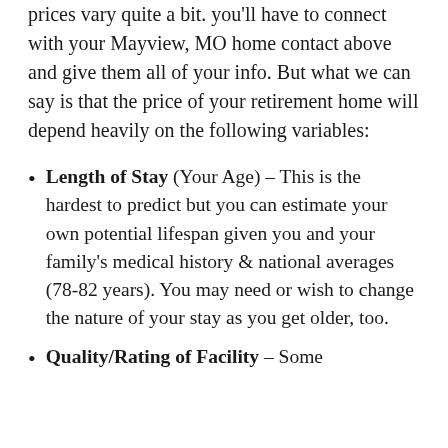prices vary quite a bit. you'll have to connect with your Mayview, MO home contact above and give them all of your info. But what we can say is that the price of your retirement home will depend heavily on the following variables:
Length of Stay (Your Age) – This is the hardest to predict but you can estimate your own potential lifespan given you and your family's medical history & national averages (78-82 years). You may need or wish to change the nature of your stay as you get older, too.
Quality/Rating of Facility – Some